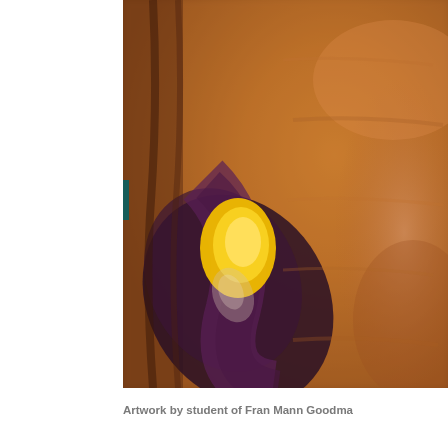[Figure (illustration): Abstract oil painting with warm orange and brown tones featuring a swirling dark purple vortex shape with a bright yellow-gold center, partially cropped, showing textured brushwork.]
Artwork by student of Fran Mann Goodma